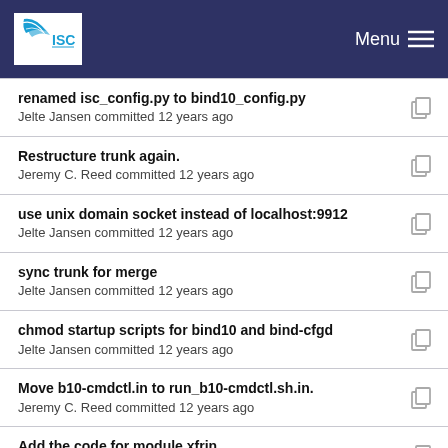ISC | Menu
renamed isc_config.py to bind10_config.py
Jelte Jansen committed 12 years ago
Restructure trunk again.
Jeremy C. Reed committed 12 years ago
use unix domain socket instead of localhost:9912
Jelte Jansen committed 12 years ago
sync trunk for merge
Jelte Jansen committed 12 years ago
chmod startup scripts for bind10 and bind-cfgd
Jelte Jansen committed 12 years ago
Move b10-cmdctl.in to run_b10-cmdctl.sh.in.
Jeremy C. Reed committed 12 years ago
Add the code for module xfrin.
Likun Zhang committed 12 years ago
Commit code for module xfrout, AXFR-out works ...